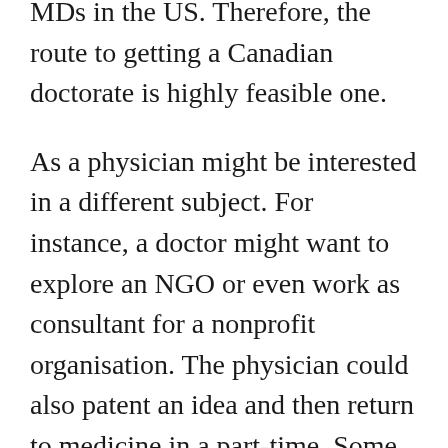MDs in the US. Therefore, the route to getting a Canadian doctorate is highly feasible one.
As a physician might be interested in a different subject. For instance, a doctor might want to explore an NGO or even work as consultant for a nonprofit organisation. The physician could also patent an idea and then return to medicine in a part-time. Some doctors are writers or consultants in telemedicine. These are only some of the many careers available to doctors. You must pick the path that best suits your